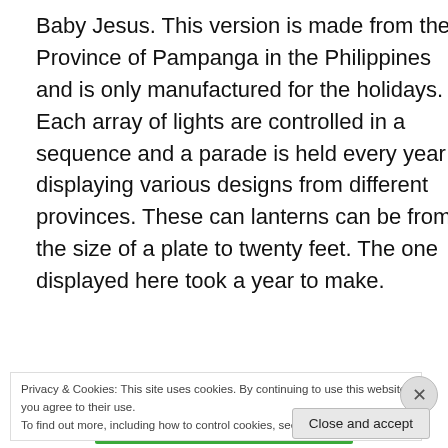Baby Jesus. This version is made from the Province of Pampanga in the Philippines and is only manufactured for the holidays. Each array of lights are controlled in a sequence and a parade is held every year displaying various designs from different provinces. These can lanterns can be from the size of a plate to twenty feet. The one displayed here took a year to make.
[Figure (screenshot): YouTube-style video thumbnail showing 'Pampanga Giant Lantern Festival 2...' with a user avatar showing 'j', colorful festival lantern lights on black background, and a three-dot menu icon.]
Privacy & Cookies: This site uses cookies. By continuing to use this website, you agree to their use.
To find out more, including how to control cookies, see here: Cookie Policy
Close and accept